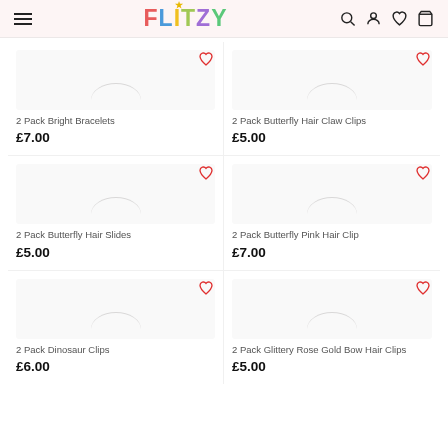FLITZY navigation header with menu, logo, search, account, wishlist, and cart icons
2 Pack Bright Bracelets £7.00
2 Pack Butterfly Hair Claw Clips £5.00
2 Pack Butterfly Hair Slides £5.00
2 Pack Butterfly Pink Hair Clip £7.00
2 Pack Dinosaur Clips £6.00
2 Pack Glittery Rose Gold Bow Hair Clips £5.00